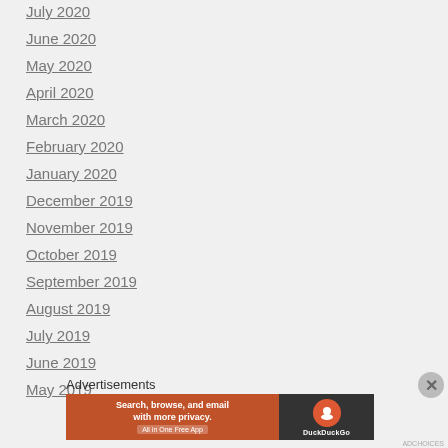July 2020
June 2020
May 2020
April 2020
March 2020
February 2020
January 2020
December 2019
November 2019
October 2019
September 2019
August 2019
July 2019
June 2019
May 2019
Advertisements
[Figure (screenshot): DuckDuckGo advertisement banner: orange background with text 'Search, browse, and email with more privacy. All in One Free App' and DuckDuckGo duck logo on dark background]